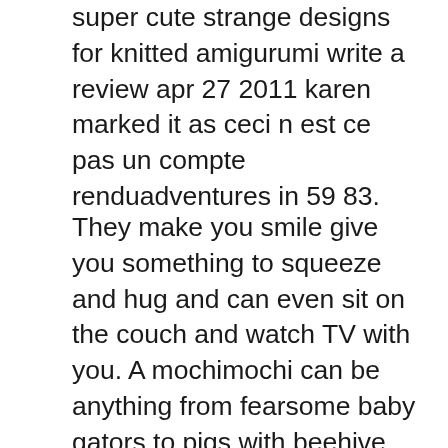super cute strange designs for knitted amigurumi write a review apr 27 2011 karen marked it as ceci n est ce pas un compte renduadventures in 59 83.
They make you smile give you something to squeeze and hug and can even sit on the couch and watch TV with you. A mochimochi can be anything from fearsome baby gators to pigs with beehive hairdos from the toe-nibbling monster slippers to an assortment of itty-bitty. Everyday low prices and free delivery on eligible orders.
In Knitting Mochimochi knitted amigurumi guru Anna Hrachovec offers instruction on the basic supplies and techniques needed for knitting 30 wonderfully odd characters att